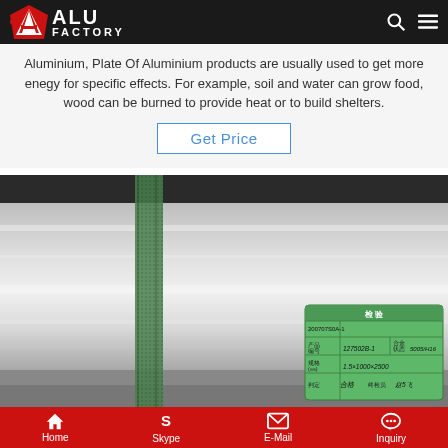ALU FACTORY
Aluminium, Plate Of Aluminium products are usually used to get more enegy for specific effects. For example, soil and water can grow food, wood can be burned to provide heat or to build shelters.
Get Price
[Figure (photo): Close-up photo of a rolled aluminium sheet/coil with a green inspection label attached. The label contains Chinese text and handwritten data including product number 127502B-1, alloy state 5005/H16, specification 1.5×1000×2500, and inspector signatures.]
Home  Skype  E-Mail  Inquiry